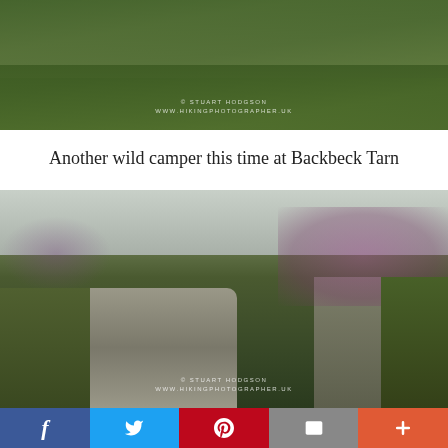[Figure (photo): Aerial/wide view of a hillside with green vegetation and heather, watermarked with '© STUART HODGSON / WWW.HIKINGPHOTOGRAPHER.UK']
Another wild camper this time at Backbeck Tarn
[Figure (photo): Stone steps/path leading up a hillside flanked by rocks and purple heather, watermarked with '© STUART HODGSON / WWW.HIKINGPHOTOGRAPHER.UK']
Social sharing bar: Facebook, Twitter, Pinterest, Email, More